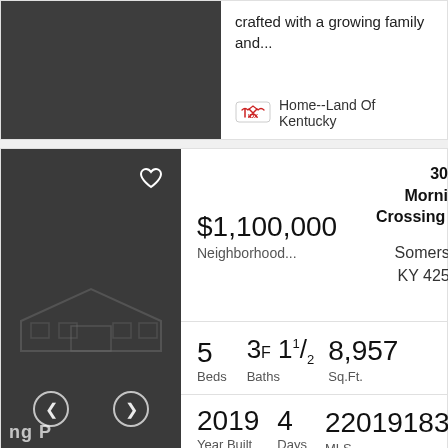crafted with a growing family and...
Home--Land Of Kentucky
$1,100,000
Neighborhood...
30 W Morning Crossing Dr Somerset, KY 42503
5 Beds  3F 1 1/2 Baths  8,957 Sq.Ft.
2019 Year Built  4 Days on Site  22019183 MLS